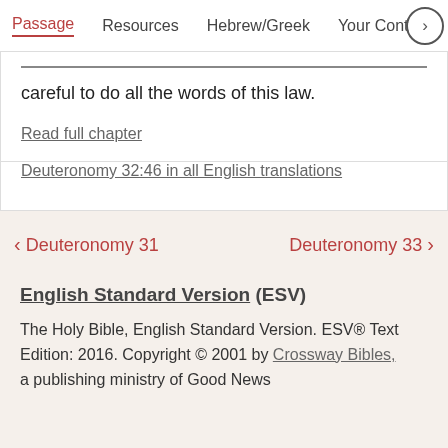Passage   Resources   Hebrew/Greek   Your Cont ›
careful to do all the words of this law.
Read full chapter
Deuteronomy 32:46 in all English translations
‹ Deuteronomy 31   Deuteronomy 33 ›
English Standard Version (ESV)
The Holy Bible, English Standard Version. ESV® Text Edition: 2016. Copyright © 2001 by Crossway Bibles, a publishing ministry of Good News